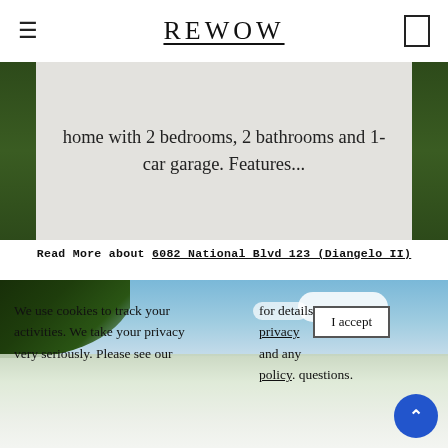REWOW
home with 2 bedrooms, 2 bathrooms and 1-car garage. Features...
Read More about 6082 National Blvd 123 (Diangelo II)
[Figure (photo): Tropical scene with palm trees, blue sky with white clouds, and a white house roof visible at the bottom.]
We use cookies to track your activities. We take your privacy very seriously. Please see our for details privacy and any policy. questions.